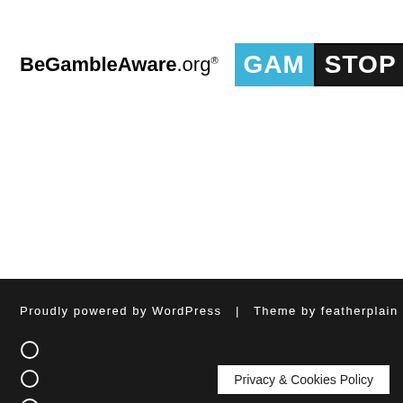[Figure (logo): BeGambleAware.org logo and GamStop logo side by side]
Proudly powered by WordPress  |  Theme by featherplain
[Figure (other): Three small circle icons in the dark footer]
Privacy & Cookies Policy